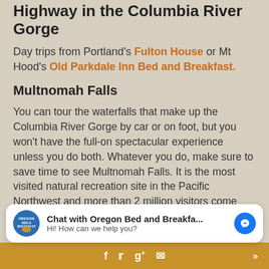Highway in the Columbia River Gorge
Day trips from Portland's Fulton House or Mt Hood's Old Parkdale Inn Bed and Breakfast.
Multnomah Falls
You can tour the waterfalls that make up the Columbia River Gorge by car or on foot, but you won't have the full-on spectacular experience unless you do both. Whatever you do, make sure to save time to see Multnomah Falls. It is the most visited natural recreation site in the Pacific Northwest and more than 2 million visitors come each year to take in its view. Tip from the local innkeepers that know: visit early morning, late afternoon or shoulder season to avoid the crowds.
[Figure (screenshot): Chat widget: 'Chat with Oregon Bed and Breakfa...' with messenger icon and 'Hi! How can we help you?' subtitle]
Social media icons: Facebook, Twitter, Google+, Email, and navigation arrow